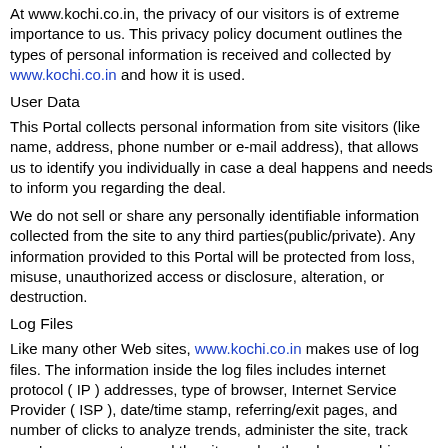At www.kochi.co.in, the privacy of our visitors is of extreme importance to us. This privacy policy document outlines the types of personal information is received and collected by www.kochi.co.in and how it is used.
User Data
This Portal collects personal information from site visitors (like name, address, phone number or e-mail address), that allows us to identify you individually in case a deal happens and needs to inform you regarding the deal.
We do not sell or share any personally identifiable information collected from the site to any third parties(public/private). Any information provided to this Portal will be protected from loss, misuse, unauthorized access or disclosure, alteration, or destruction.
Log Files
Like many other Web sites, www.kochi.co.in makes use of log files. The information inside the log files includes internet protocol ( IP ) addresses, type of browser, Internet Service Provider ( ISP ), date/time stamp, referring/exit pages, and number of clicks to analyze trends, administer the site, track user's movement around the site, and gather demographic information. IP addresses, and other such information are not linked to any information that is personally identifiable.
Cookies and Web Beacons